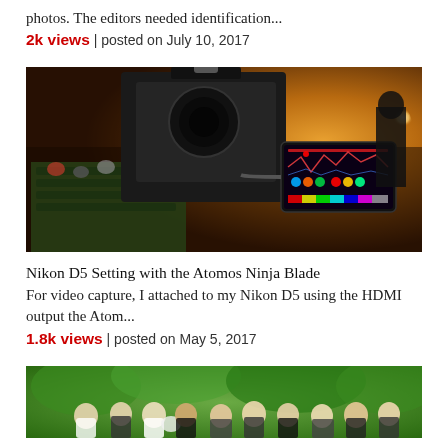photos. The editors needed identification...
2k views | posted on July 10, 2017
[Figure (photo): Close-up of a Nikon D5 camera with Atomos Ninja Blade monitor attached, in a dark auditorium setting with audience in background]
Nikon D5 Setting with the Atomos Ninja Blade
For video capture, I attached to my Nikon D5 using the HDMI output the Atom...
1.8k views | posted on May 5, 2017
[Figure (photo): Outdoor wedding or ceremony scene with people gathered, greenery in background]